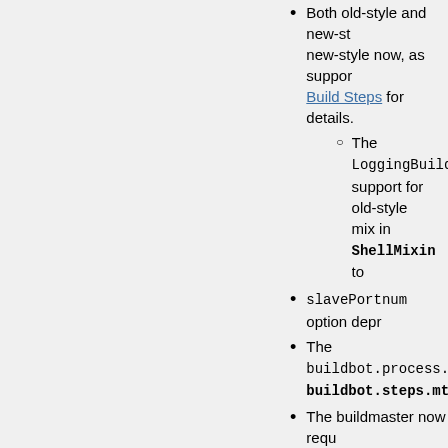Both old-style and new-style now, as support... Build Steps for details.
The LoggingBuildSt... support for old-style mix in ShellMixin to...
slavePortnum option depr...
The buildbot.process.mt... buildbot.steps.mtrlogob...
The buildmaster now requ...
The buildmaster now requ...
The hgbuildbot Mercurial... versions of Mercurial and... hgbuildbot attempts to ru...
The try scheduler's --con...
The former buildbot.proc... buildbot.process.remote... Similarly, the former buil... buildbot.process.logobs...
The undocumented Build... handling of disconnect...